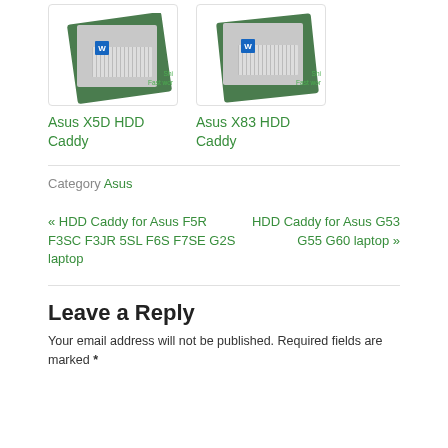[Figure (photo): Product image of Asus X5D HDD Caddy showing green caddy with hard drive]
Asus X5D HDD Caddy
[Figure (photo): Product image of Asus X83 HDD Caddy showing green caddy with hard drive]
Asus X83 HDD Caddy
Category Asus
« HDD Caddy for Asus F5R F3SC F3JR 5SL F6S F7SE G2S laptop
HDD Caddy for Asus G53 G55 G60 laptop »
Leave a Reply
Your email address will not be published. Required fields are marked *